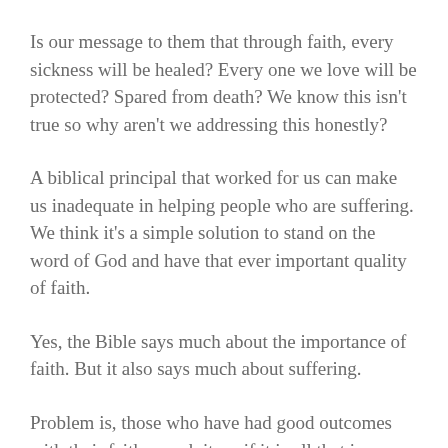Is our message to them that through faith, every sickness will be healed? Every one we love will be protected? Spared from death? We know this isn't true so why aren't we addressing this honestly?
A biblical principal that worked for us can make us inadequate in helping people who are suffering. We think it's a simple solution to stand on the word of God and have that ever important quality of faith.
Yes, the Bible says much about the importance of faith. But it also says much about suffering.
Problem is, those who have had good outcomes with their faith preach it, as if it is all that is needed. It is an injustice to people to not address the other side of things. Whether it is a small church or a big name